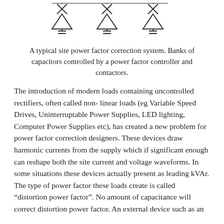[Figure (schematic): Electrical schematic showing three capacitor bank units, each consisting of a capacitor symbol with a crossed-out element (fuse/switch) on top and parallel plates symbol below, arranged in a row.]
A typical site power factor correction system. Banks of capacitors controlled by a power factor controller and contactors.
The introduction of modern loads containing uncontrolled rectifiers, often called non- linear loads (eg Variable Speed Drives, Uninterruptable Power Supplies, LED lighting, Computer Power Supplies etc), has created a new problem for power factor correction designers. These devices draw harmonic currents from the supply which if significant enough can reshape both the site current and voltage waveforms. In some situations these devices actually present as leading kVAr. The type of power factor these loads create is called “distortion power factor”. No amount of capacitance will correct distortion power factor. An external device such as an